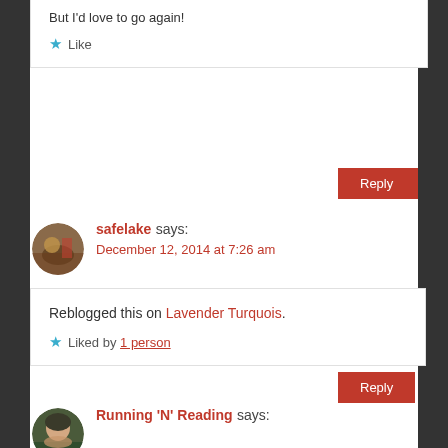But I'd love to go again!
★ Like
Reply
safelake says: December 12, 2014 at 7:26 am
Reblogged this on Lavender Turquois.
★ Liked by 1 person
Reply
Running 'N' Reading says: